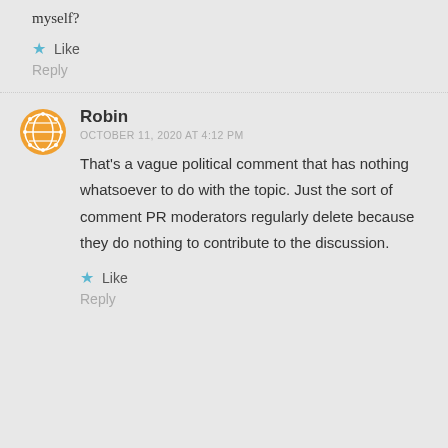myself?
★ Like
Reply
Robin
OCTOBER 11, 2020 AT 4:12 PM
That's a vague political comment that has nothing whatsoever to do with the topic. Just the sort of comment PR moderators regularly delete because they do nothing to contribute to the discussion.
★ Like
Reply